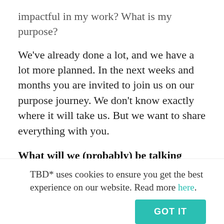impactful in my work? What is my purpose?
We've already done a lot, and we have a lot more planned. In the next weeks and months you are invited to join us on our purpose journey. We don't know exactly where it will take us. But we want to share everything with you.
What will we (probably) be talking about?
When it comes to building an organisation that
TBD* uses cookies to ensure you get the best experience on our website. Read more here.
GOT IT